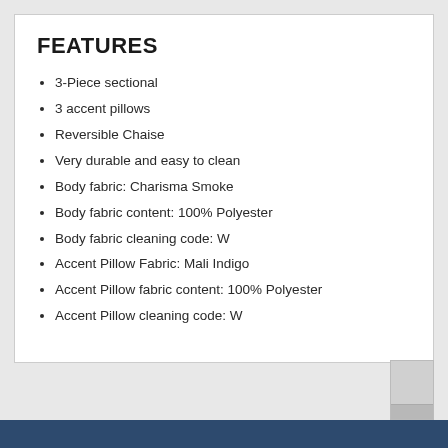FEATURES
3-Piece sectional
3 accent pillows
Reversible Chaise
Very durable and easy to clean
Body fabric: Charisma Smoke
Body fabric content: 100% Polyester
Body fabric cleaning code: W
Accent Pillow Fabric: Mali Indigo
Accent Pillow fabric content: 100% Polyester
Accent Pillow cleaning code: W